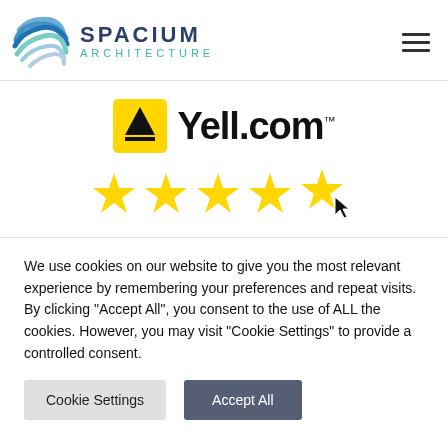[Figure (logo): Spacium Architecture logo with globe/sphere icon and text]
[Figure (logo): Yell.com logo with yellow arrow icon and 5-star rating]
We use cookies on our website to give you the most relevant experience by remembering your preferences and repeat visits. By clicking "Accept All", you consent to the use of ALL the cookies. However, you may visit "Cookie Settings" to provide a controlled consent.